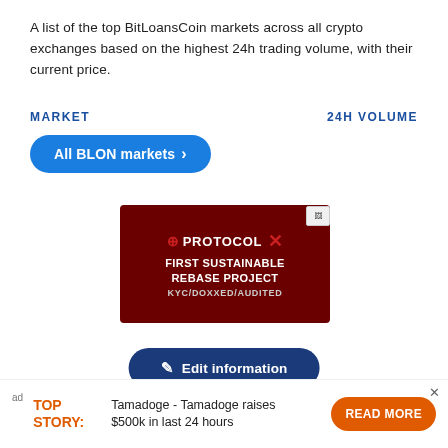A list of the top BitLoansCoin markets across all crypto exchanges based on the highest 24h trading volume, with their current price.
MARKET   24H VOLUME
All BLON markets >
[Figure (photo): Dark red advertisement banner for PROTOCOL X — FIRST SUSTAINABLE REBASE PROJECT KYC/DOXXED/AUDITED]
Edit information
Edit or add information about BitLoansCoin (BLON).
ad  TOP STORY:  Tamadoge - Tamadoge raises $500k in last 24 hours   READ MORE